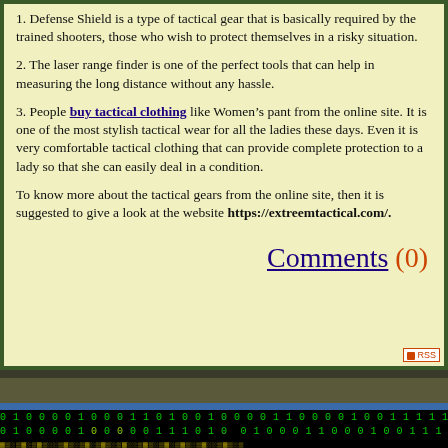1. Defense Shield is a type of tactical gear that is basically required by the trained shooters, those who wish to protect themselves in a risky situation.
2. The laser range finder is one of the perfect tools that can help in measuring the long distance without any hassle.
3. People buy tactical clothing like Women’s pant from the online site. It is one of the most stylish tactical wear for all the ladies these days. Even it is very comfortable tactical clothing that can provide complete protection to a lady so that she can easily deal in a condition.
To know more about the tactical gears from the online site, then it is suggested to give a look at the website https://extreemtactical.com/.
Comments (0)
[Figure (other): Binary code bar at the bottom of the page, green digits on black background]